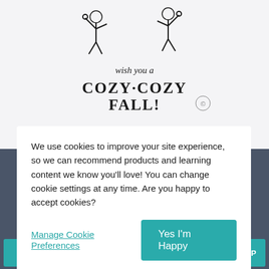[Figure (illustration): Hand-drawn illustration of skeleton figures with text 'wish you a COZY·COZY FALL!' and 'Thank you! You make my work important...' on a light grey background]
We use cookies to improve your site experience, so we can recommend products and learning content we know you'll love! You can change cookie settings at any time. Are you happy to accept cookies?
Manage Cookie Preferences
Yes I'm Happy
Add To Cart
TOP